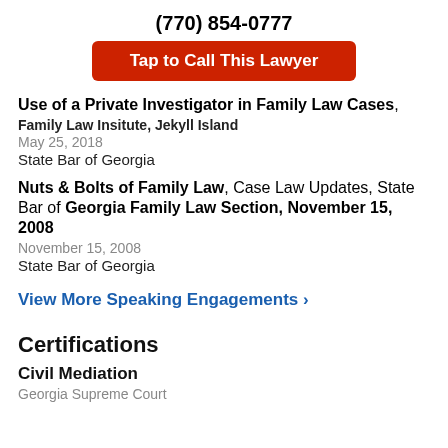(770) 854-0777
Tap to Call This Lawyer
Use of a Private Investigator in Family Law Cases, Family Law Insitute, Jekyll Island, May 25, 2018, State Bar of Georgia
Nuts & Bolts of Family Law, Case Law Updates, State Bar of Georgia Family Law Section, November 15, 2008, State Bar of Georgia
View More Speaking Engagements ›
Certifications
Civil Mediation
Georgia Supreme Court